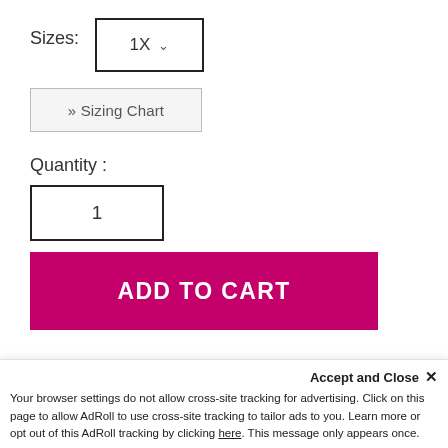Sizes:
1X ▾
» Sizing Chart
Quantity :
1
ADD TO CART
Product Details
Accept and Close ✕
Your browser settings do not allow cross-site tracking for advertising. Click on this page to allow AdRoll to use cross-site tracking to tailor ads to you. Learn more or opt out of this AdRoll tracking by clicking here. This message only appears once.